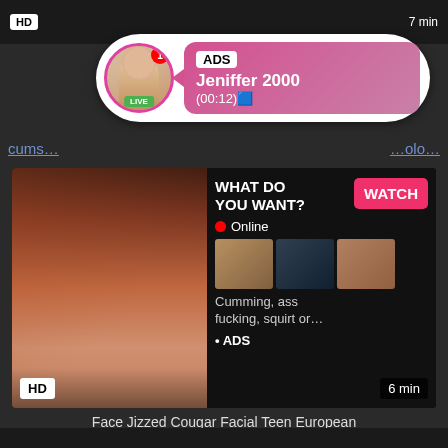[Figure (screenshot): Top dark strip with HD badge and duration label]
[Figure (infographic): Ad overlay bubble showing avatar with LIVE badge, ADS label, name Jeniffer 2000, time (00:12)]
cums...
...olo...
[Figure (screenshot): Video thumbnail of adult content with right panel showing WHAT DO YOU WANT? WATCH button, Online status, thumbnail grid, Cumming, ass fucking, squirt or... • ADS]
HD
6 min
Face Jizzed Cougar Facial Teen European
facial, teen, european, pornstar, threesome, bigtits, mode...